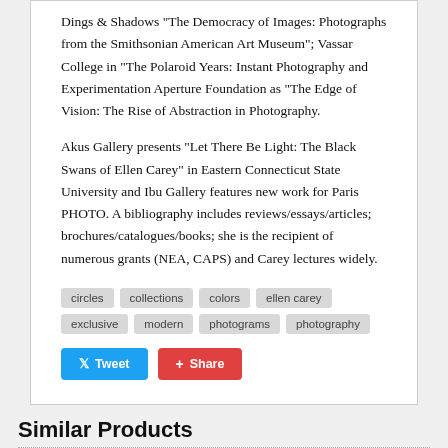Dings & Shadows "The Democracy of Images: Photographs from the Smithsonian American Art Museum"; Vassar College in "The Polaroid Years: Instant Photography and Experimentation Aperture Foundation as "The Edge of Vision: The Rise of Abstraction in Photography.
Akus Gallery presents "Let There Be Light: The Black Swans of Ellen Carey" in Eastern Connecticut State University and Ibu Gallery features new work for Paris PHOTO. A bibliography includes reviews/essays/articles; brochures/catalogues/books; she is the recipient of numerous grants (NEA, CAPS) and Carey lectures widely.
circles
collections
colors
ellen carey
exclusive
modern
photograms
photography
Tweet  Share
Similar Products